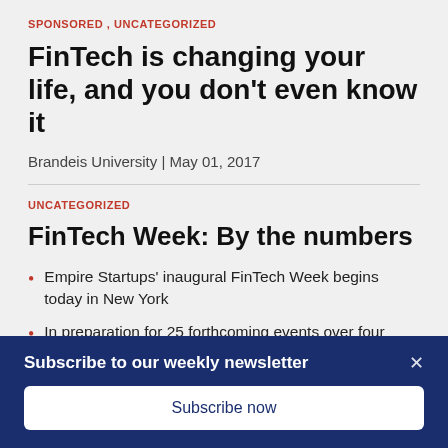SPONSORED, UNCATEGORIZED
FinTech is changing your life, and you don't even know it
Brandeis University | May 01, 2017
UNCATEGORIZED
FinTech Week: By the numbers
Empire Startups' inaugural FinTech Week begins today in New York
In preparation for 25 forthcoming events over four
Subscribe to our weekly newsletter
Subscribe now